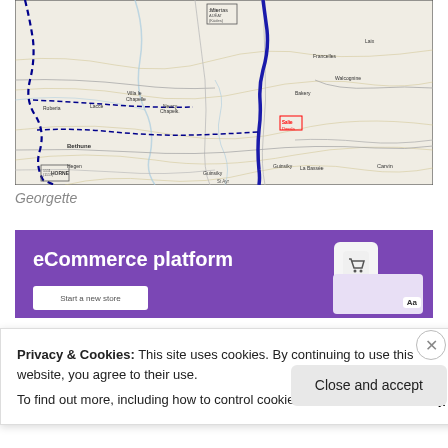[Figure (map): A topographic/road map showing towns including Bethune, Carvin, Horne, and surrounding areas with roads, rivers, and contour lines. A thick dark blue line traces a route through the map.]
Georgette
[Figure (screenshot): eCommerce platform banner with purple background, shopping cart icon, 'Start a new store' button, and UI preview elements.]
Privacy & Cookies: This site uses cookies. By continuing to use this website, you agree to their use.
To find out more, including how to control cookies, see here: Cookie Policy